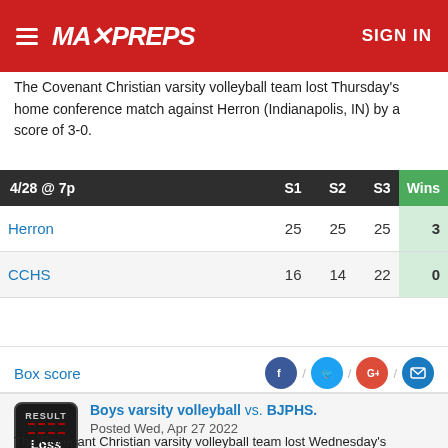MaxPreps — SIGN IN
The Covenant Christian varsity volleyball team lost Thursday's home conference match against Herron (Indianapolis, IN) by a score of 3-0.
| 4/28 @ 7p | S1 | S2 | S3 | Wins |
| --- | --- | --- | --- | --- |
| Herron | 25 | 25 | 25 | 3 |
| CCHS | 16 | 14 | 22 | 0 |
Box score
Boys varsity volleyball vs. BJPHS. Posted Wed, Apr 27 2022
The Covenant Christian varsity volleyball team lost Wednesday's